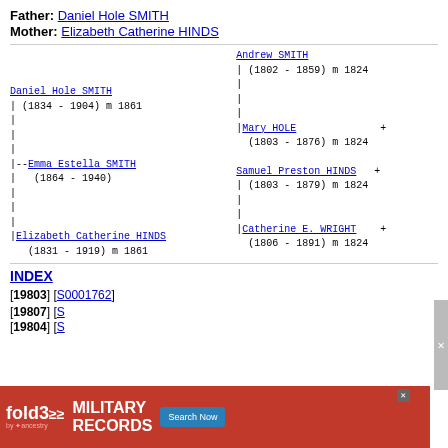Father: Daniel Hole SMITH
Mother: Elizabeth Catherine HINDS
[Figure (other): Genealogy pedigree tree showing Daniel Hole SMITH (1834-1904) m 1861 and Emma Estella SMITH (1864-1940) and Elizabeth Catherine HINDS (1831-1919) m 1861, with ancestors Andrew SMITH (1802-1859) m 1824, Mary HOLE (1803-1876) m 1824, Samuel Preston HINDS (1803-1879) m 1824, Catherine E. WRIGHT (1806-1891) m 1824]
INDEX
[19803] [S0001762]
[19807] [S...
[19804] [S...
[Figure (screenshot): Advertisement banner for fold3 Military Records by Ancestry with Search Now button]